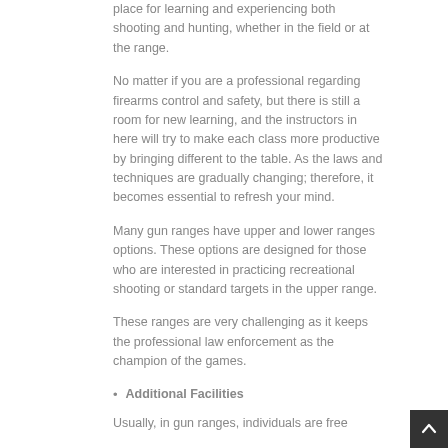place for learning and experiencing both shooting and hunting, whether in the field or at the range.
No matter if you are a professional regarding firearms control and safety, but there is still a room for new learning, and the instructors in here will try to make each class more productive by bringing different to the table. As the laws and techniques are gradually changing; therefore, it becomes essential to refresh your mind.
Many gun ranges have upper and lower ranges options. These options are designed for those who are interested in practicing recreational shooting or standard targets in the upper range.
These ranges are very challenging as it keeps the professional law enforcement as the champion of the games.
Additional Facilities
Usually, in gun ranges, individuals are free